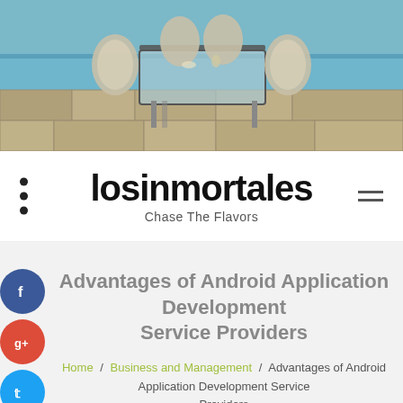[Figure (photo): Outdoor patio scene with wicker chairs and table beside a swimming pool, stone tile flooring, sunny day]
losinmortales — Chase The Flavors
Advantages of Android Application Development Service Providers
Home / Business and Management / Advantages of Android Application Development Service Providers